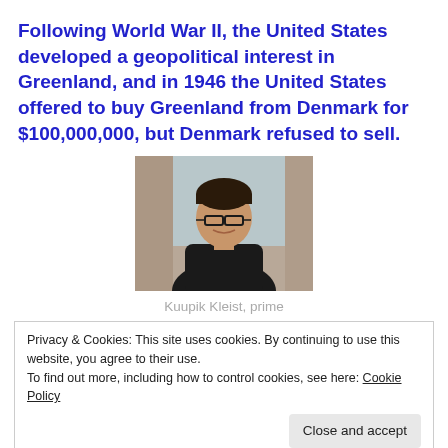Following World War II, the United States developed a geopolitical interest in Greenland, and in 1946 the United States offered to buy Greenland from Denmark for $100,000,000, but Denmark refused to sell.
[Figure (photo): Portrait photo of Kuupik Kleist, prime minister, seated against a window with curtains]
Kuupik Kleist, prime
Privacy & Cookies: This site uses cookies. By continuing to use this website, you agree to their use.
To find out more, including how to control cookies, see here: Cookie Policy
Close and accept